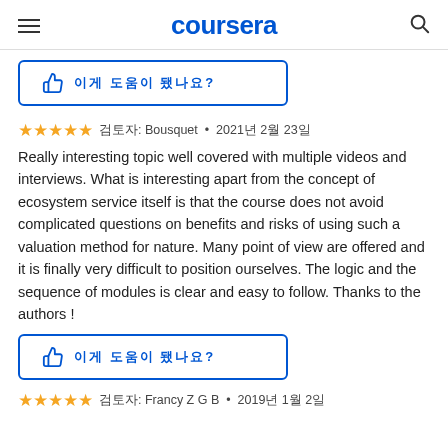coursera
[Figure (other): Thumbs up helpful button with Korean text]
★★★★★ 검토자: Bousquet • 2021년 2월 23일
Really interesting topic well covered with multiple videos and interviews. What is interesting apart from the concept of ecosystem service itself is that the course does not avoid complicated questions on benefits and risks of using such a valuation method for nature. Many point of view are offered and it is finally very difficult to position ourselves. The logic and the sequence of modules is clear and easy to follow. Thanks to the authors !
[Figure (other): Thumbs up helpful button with Korean text]
★★★★★ 검토자: Francy Z G B • 2019년 1월 2일